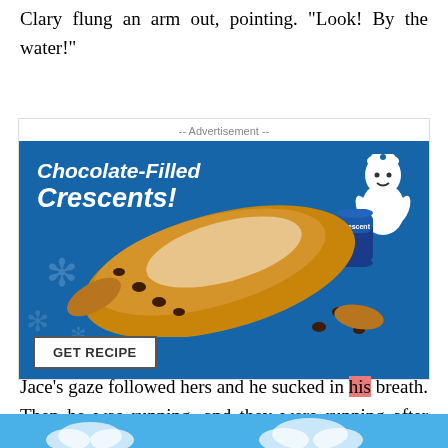Clary flung an arm out, pointing. “Look! By the water!”
[Figure (photo): Pillsbury advertisement for Chocolate-Filled Crescents showing a golden crescent pastry dusted with powdered sugar and chocolate chips, with the Pillsbury Doughboy mascot in the upper right corner, a can of Crescent rolls, and a 'GET RECIPE' button on a blue background with snowflake decorations.]
Jace’s gaze followed hers and he sucked in his breath. Then he was running, and they were running after h[obscured]d onto the s[obscured]. The